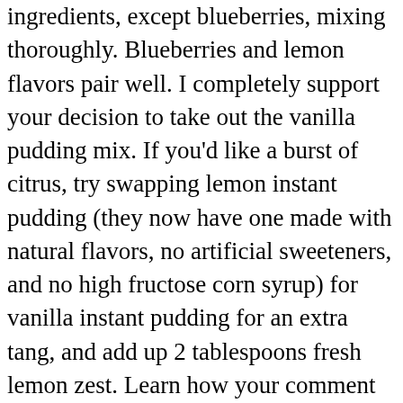ingredients, except blueberries, mixing thoroughly. Blueberries and lemon flavors pair well. I completely support your decision to take out the vanilla pudding mix. If you'd like a burst of citrus, try swapping lemon instant pudding (they now have one made with natural flavors, no artificial sweeteners, and no high fructose corn syrup) for vanilla instant pudding for an extra tang, and add up 2 tablespoons fresh lemon zest. Learn how your comment data is processed. Just in case the recipe didn't turn out Iâ€¦ Dig in. I appreciate your support on removing jello pudding from the ingredients ð. Amish Friendship Bread Starter Recipe Collection Here are 2 Amish friendship bread starter recipes. Instead of baking with it, though, I gave this first starter away and told my victim that if she needed someone to take a starter off of her hands, I would take